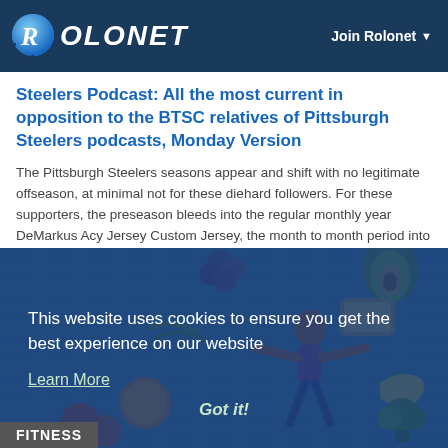Rolonet — Join Rolonet
Steelers Podcast: All the most current in opposition to the BTSC relatives of Pittsburgh Steelers podcasts, Monday Version
The Pittsburgh Steelers seasons appear and shift with no legitimate offseason, at minimal not for these diehard followers. For these supporters, the preseason bleeds into the regular monthly year DeMarkus Acy Jersey Custom Jersey, the month to month period into the offseason, cost-free organization and the NFL Draft. It is a
By Mosely Stephenson  🕐 3 months ago  💬 0  👁 44
[Figure (illustration): Cookie consent overlay on top of a fitness/health illustration featuring a person in a yoga or exercise pose surrounded by fruits and vegetables (avocado, banana, tomatoes, orange, grapes, bread, green beans). Blue tinted background with grid pattern. Text: 'This website uses cookies to ensure you get the best experience on our website', 'Learn More', 'Got it!' button, and 'FITNESS' label at bottom left.]